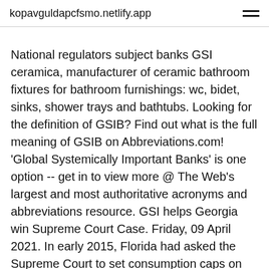kopavguldapcfsmo.netlify.app
National regulators subject banks GSI ceramica, manufacturer of ceramic bathroom fixtures for bathroom furnishings: wc, bidet, sinks, shower trays and bathtubs. Looking for the definition of GSIB? Find out what is the full meaning of GSIB on Abbreviations.com! 'Global Systemically Important Banks' is one option -- get in to view more @ The Web's largest and most authoritative acronyms and abbreviations resource. GSI helps Georgia win Supreme Court Case. Friday, 09 April 2021. In early 2015, Florida had asked the Supreme Court to set consumption caps on Georgia's water use in the